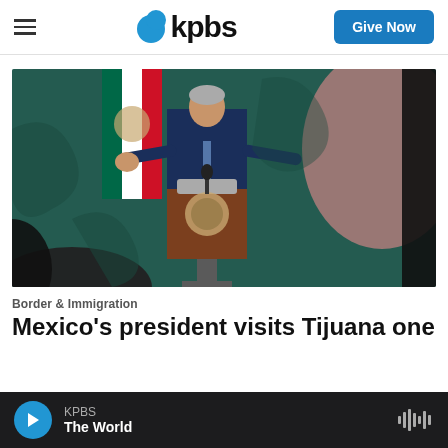KPBS — Give Now
[Figure (photo): Mexico's president speaking at a podium with Mexican flag in background, photographed from behind a blurred audience member in the foreground]
Border & Immigration
Mexico's president visits Tijuana one
KPBS — The World (audio player bar)